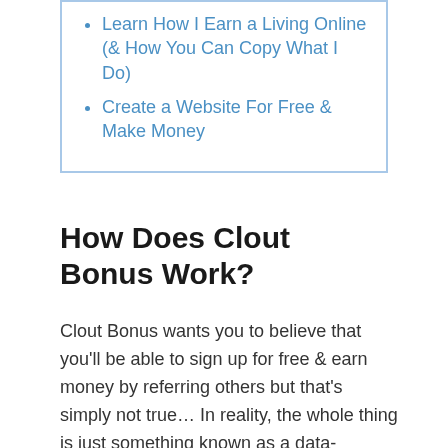Learn How I Earn a Living Online (& How You Can Copy What I Do)
Create a Website For Free & Make Money
How Does Clout Bonus Work?
Clout Bonus wants you to believe that you'll be able to sign up for free & earn money by referring others but that's simply not true… In reality, the whole thing is just something known as a data-harvesting scam.